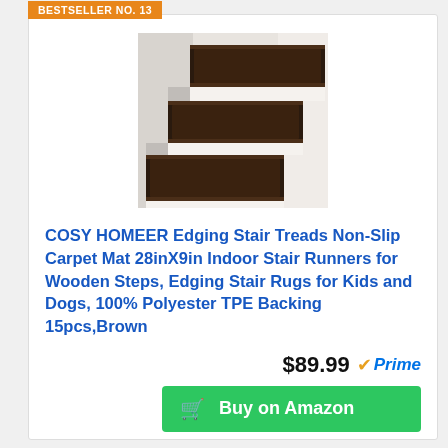BESTSELLER NO. 13
[Figure (photo): Photo of dark brown carpet stair treads on white wooden stairs, showing three steps with brown non-slip mats installed on each step.]
COSY HOMEER Edging Stair Treads Non-Slip Carpet Mat 28inX9in Indoor Stair Runners for Wooden Steps, Edging Stair Rugs for Kids and Dogs, 100% Polyester TPE Backing 15pcs,Brown
$89.99 Prime
Buy on Amazon